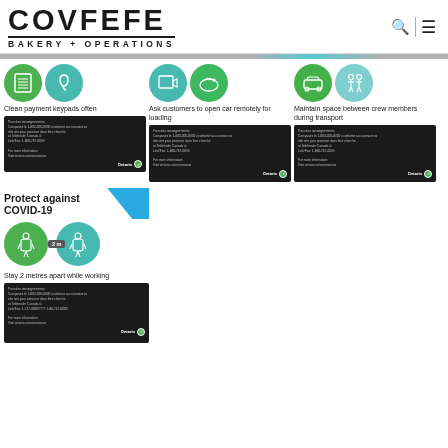[Figure (logo): COVFEFE BAKERY + OPERATIONS logo with search and menu icons]
[Figure (infographic): Three columns of COVID-19 safety infographics: Clean payment keypads often, Ask customers to open car remotely for loading, Maintain space between crew members during transport. Each with icon circles and Ontario government dark card.]
[Figure (infographic): Protect against COVID-19: Stay 2 metres apart while working. Workers shown with 2m distance indicator and Ontario government dark card.]